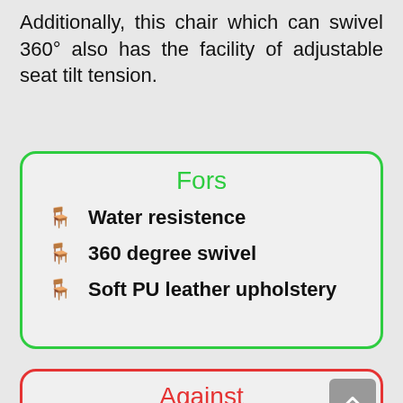Additionally, this chair which can swivel 360° also has the facility of adjustable seat tilt tension.
Fors
Water resistence
360 degree swivel
Soft PU leather upholstery
Against
Less lumbar support